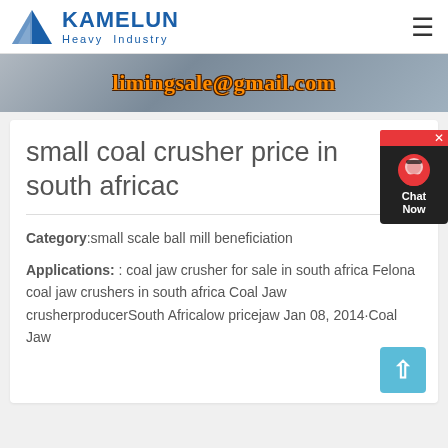KAMELUN Heavy Industry
[Figure (screenshot): Banner image showing contact email limingsale@gmail.com in orange decorative font on a grey background]
[Figure (illustration): Chat Now customer service widget with headset icon on dark background]
small coal crusher price in south africac
Category:small scale ball mill beneficiation
Applications: : coal jaw crusher for sale in south africa Felona coal jaw crushers in south africa Coal Jaw crusherproducerSouth Africalow pricejaw Jan 08, 2014·Coal Jaw